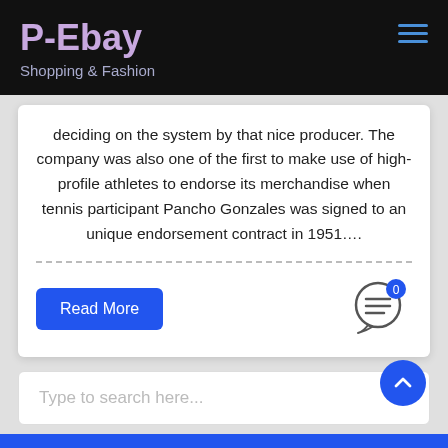P-Ebay
Shopping & Fashion
deciding on the system by that nice producer. The company was also one of the first to make use of high-profile athletes to endorse its merchandise when tennis participant Pancho Gonzales was signed to an unique endorsement contract in 1951….
Read More
[Figure (illustration): Speech bubble / comment icon with a badge showing '0']
Type to search here...
[Figure (illustration): Scroll to top button, blue circle with upward chevron arrow]